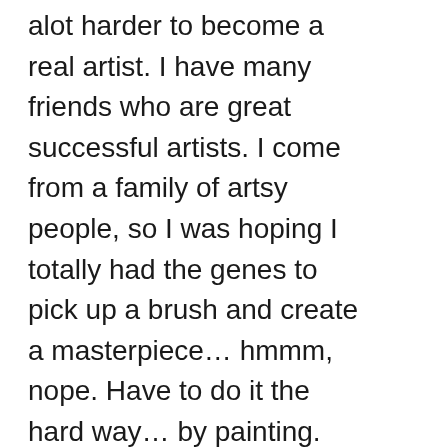alot harder to become a real artist. I have many friends who are great successful artists. I come from a family of artsy people, so I was hoping I totally had the genes to pick up a brush and create a masterpiece… hmmm, nope. Have to do it the hard way… by painting. That's ok, I look forward to every little bit of information that I receive from various artists! We love to collect art, we have wonderful collection of paintings. Art is like jewelry for your walls. You can have a plain room and dress it up with art work, LOVE IT. FOOD I love recipes, love to cook and bake, so I will include the best of the best here for you! HOME My husband and I love our home. We love to decorate, change things around and find things that are special to get… ill share those things here as i…